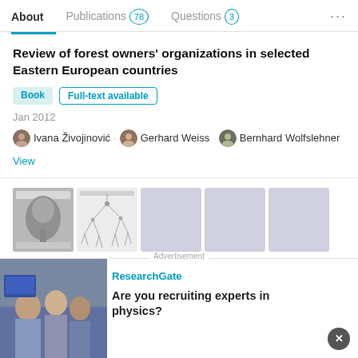About  Publications 78  Questions 3  ...
Review of forest owners' organizations in selected Eastern European countries
Book  Full-text available
Jan 2012
Ivana Živojinović · Gerhard Weiss · Bernhard Wolfslehner
View
[Figure (photo): Thumbnails of document pages: first shows a tree diagram page, second shows a network/root structure drawing, remaining three are gray placeholders]
A comparative perspective of urban forestry in Belgrade, Serbia and Freiburg, Germany
Advertisement
[Figure (photo): Advertisement photo showing people in an office/lab setting]
ResearchGate
Are you recruiting experts in physics?